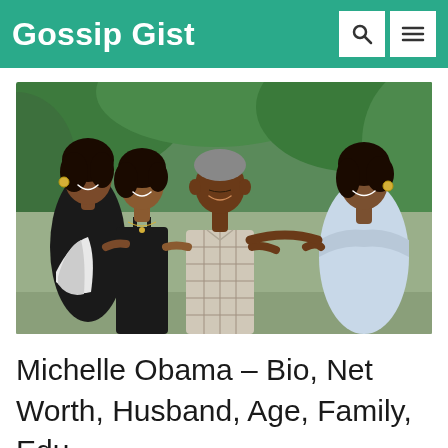Gossip Gist
[Figure (photo): Family photo of Michelle Obama, Sasha Obama, Barack Obama, and Malia Obama posing together outdoors with trees in the background. Michelle wears a black and white outfit, Sasha in a black top, Barack in a plaid shirt, and Malia in a light blue/white off-shoulder top.]
Michelle Obama – Bio, Net Worth, Husband, Age, Family, Edu …